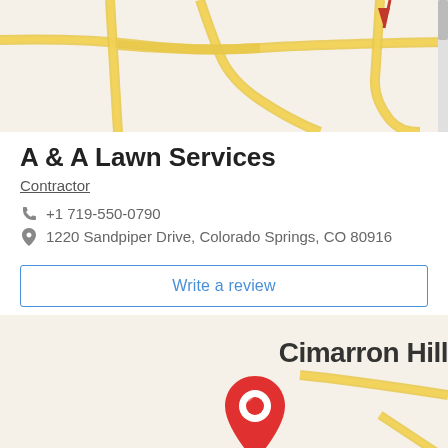[Figure (map): Top portion of a Google Maps-style street map showing roads and yellow road lines, partially cut off at top.]
A & A Lawn Services
Contractor
+1 719-550-0790
1220 Sandpiper Drive, Colorado Springs, CO 80916
Write a review
[Figure (map): Google Maps showing location pin (red) in Cimarron Hills area near Colorado Springs, CO. Text 'Cimarron Hill' visible. A green rectangle is partially visible at bottom left.]